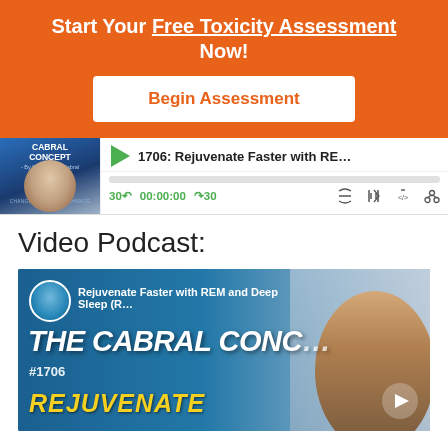Start Your Free Toxicity Assessment Now!
[Figure (screenshot): Audio podcast player showing episode 1706: Rejuvenate Faster with RE... with Cabral Concept branding, play button, progress bar, and controls showing 00:00:00 timestamp]
Video Podcast:
[Figure (screenshot): Video thumbnail for The Cabral Concept episode #1706 titled 'Rejuvenate Faster with REM and Deep Sleep' showing host avatar, bold yellow REJUVENATE text, and play button]